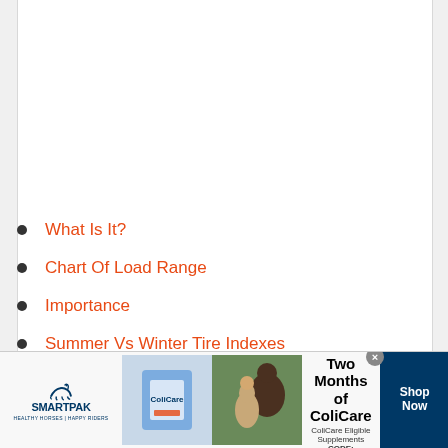What Is It?
Chart Of Load Range
Importance
Summer Vs Winter Tire Indexes
[Figure (other): SmartPak advertisement banner: 50% Off Two Months of ColiCare, ColiCare Eligible Supplements, CODE: COLICARE10. Shop Now button. SmartPak logo with horse. Product image and horse/person image.]